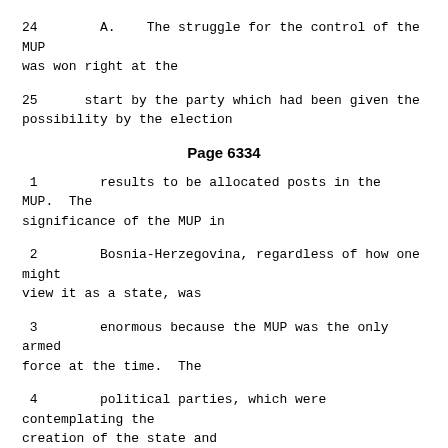24        A.    The struggle for the control of the MUP was won right at the
25        start by the party which had been given the possibility by the election
Page 6334
1         results to be allocated posts in the MUP.  The significance of the MUP in
2         Bosnia-Herzegovina, regardless of how one might view it as a state, was
3         enormous because the MUP was the only armed force at the time.  The
4         political parties, which were contemplating the creation of the state and